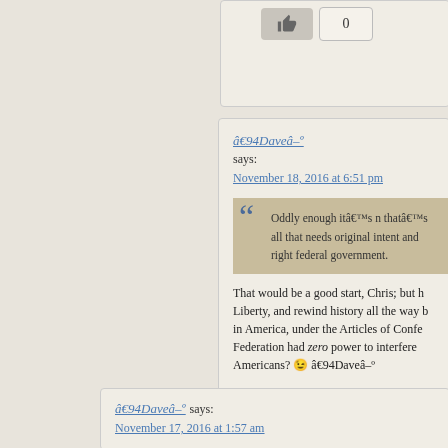[Figure (screenshot): Partial top of a comment box showing a like button and count of 0]
â—„Daveâ–º says:
November 18, 2016 at 6:51 pm
Oddly enough itâ€™s n thatâ€™s all that needs original intent and right federal government.
That would be a good start, Chris; but h Liberty, and rewind history all the way b in America, under the Articles of Confe Federation had zero power to interfere Americans? 😉 â—„Daveâ–º
Reply
â—„Daveâ–º says:
November 17, 2016 at 1:57 am